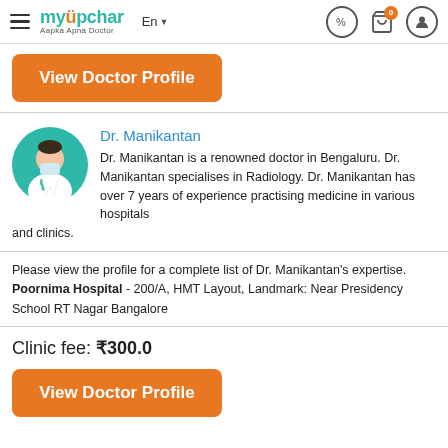myUpchar - Aapka Apna Doctor
[Figure (illustration): Orange rounded rectangle button with white bold text 'View Doctor Profile']
Dr. Manikantan
Dr. Manikantan is a renowned doctor in Bengaluru. Dr. Manikantan specialises in Radiology. Dr. Manikantan has over 7 years of experience practising medicine in various hospitals and clinics.
Please view the profile for a complete list of Dr. Manikantan's expertise.
Poornima Hospital - 200/A, HMT Layout, Landmark: Near Presidency School RT Nagar Bangalore
Clinic fee: ₹300.0
[Figure (illustration): Orange rounded rectangle button with white bold text 'View Doctor Profile']